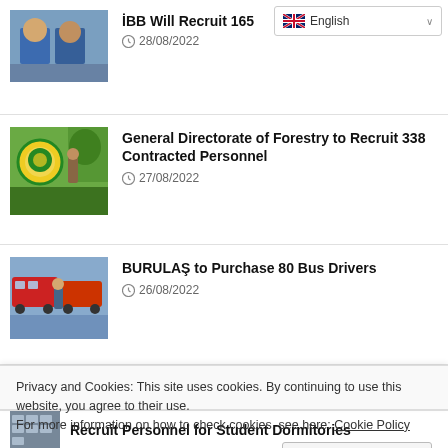[Figure (screenshot): Language selector dropdown showing English with flag icon]
İBB Will Recruit 165 — 28/08/2022
[Figure (photo): Two workers in blue uniforms examining industrial equipment]
General Directorate of Forestry to Recruit 338 Contracted Personnel — 27/08/2022
[Figure (photo): Forestry logo and a person using binoculars in a field]
BURULAŞ to Purchase 80 Bus Drivers — 26/08/2022
[Figure (photo): Buses and a person standing near them]
Privacy and Cookies: This site uses cookies. By continuing to use this website, you agree to their use.
For more information on how to check cookies, see here: Cookie Policy
Recruit Personnel for Student Dormitories